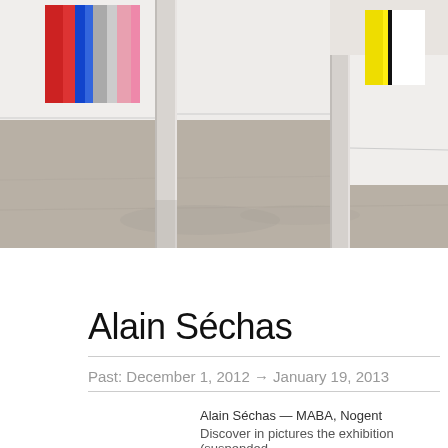[Figure (photo): Interior of an art gallery with white walls and polished concrete floor. Two large colorful abstract paintings are visible on the walls — one on the left with red, blue, gray, pink vertical bands and one on the right with yellow and black vertical bands. Two white cylindrical columns are present in the space.]
Alain Séchas
© Galerie Chantal Crousel, Paris
Alain Séchas
Past: December 1, 2012 → January 19, 2013
Alain Séchas — MABA, Nogent
Discover in pictures the exhibition (suspended